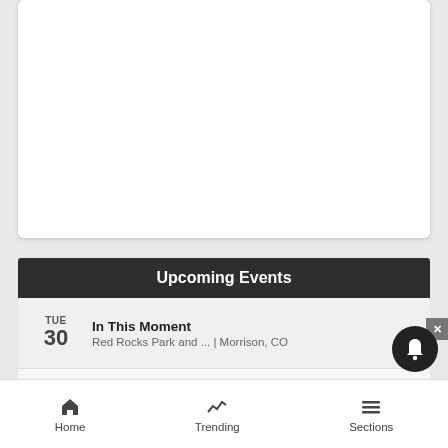[Figure (other): White card placeholder area at top of page]
Upcoming Events
TUE 30 - In This Moment - Red Rocks Park and ... | Morrison, CO
TUE 30 - Alcoholics Anonymous - Fraser, CO
TUE 30 - Private Tours of Rocky Mountain National Park - Devil's Thumb Ranch | Tabernash, CO
[Figure (screenshot): MAC cosmetics advertisement banner with lipstick images and SHOP NOW button]
Home   Trending   Sections